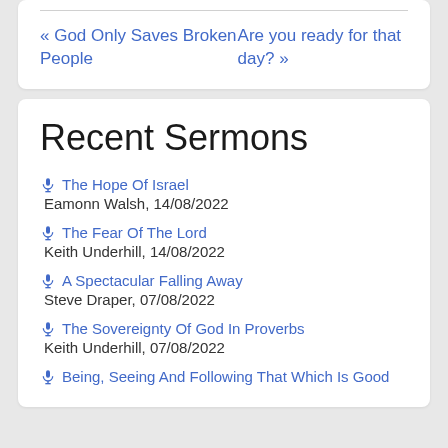« God Only Saves Broken People
Are you ready for that day? »
Recent Sermons
🎤 The Hope Of Israel
Eamonn Walsh, 14/08/2022
🎤 The Fear Of The Lord
Keith Underhill, 14/08/2022
🎤 A Spectacular Falling Away
Steve Draper, 07/08/2022
🎤 The Sovereignty Of God In Proverbs
Keith Underhill, 07/08/2022
🎤 Being, Seeing And Following That Which Is Good